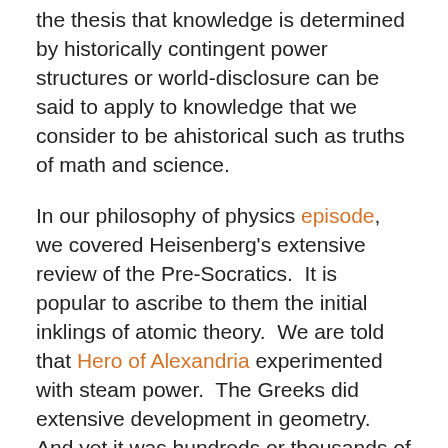the thesis that knowledge is determined by historically contingent power structures or world-disclosure can be said to apply to knowledge that we consider to be ahistorical such as truths of math and science.
In our philosophy of physics episode, we covered Heisenberg's extensive review of the Pre-Socratics.  It is popular to ascribe to them the initial inklings of atomic theory.  We are told that Hero of Alexandria experimented with steam power.  The Greeks did extensive development in geometry.  And yet it was hundreds or thousands of years before we got quantum mechanics, steam engines and calculus.  A conventional view would be to trace the development of ideas and technology to get from the ancient ideas and inventions to modern ones, but I am tempted to ask whether something more is at work here:  whether the limits of their conception of what was knowable and worth knowing put a limit on